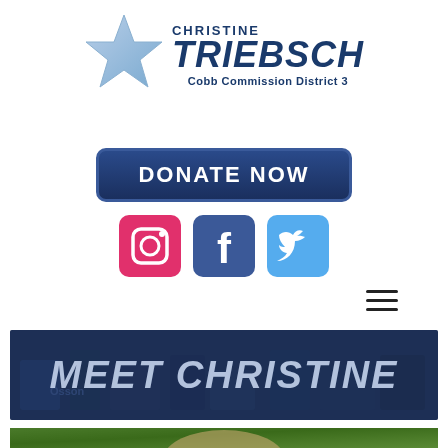[Figure (logo): Christine Triebsch campaign logo with blue star and text 'CHRISTINE TRIEBSCH Cobb Commission District 3']
[Figure (other): Blue rounded rectangle donate button with text 'DONATE NOW']
[Figure (other): Social media icons: Instagram (pink/red), Facebook (blue), Twitter (light blue)]
[Figure (other): Hamburger menu icon (three horizontal lines)]
[Figure (photo): Dark banner image with crowd/campaign signs background and large italic text 'MEET CHRISTINE']
[Figure (photo): Portrait photo of Christine Triebsch, woman with blonde hair, green outdoor background (partially visible)]